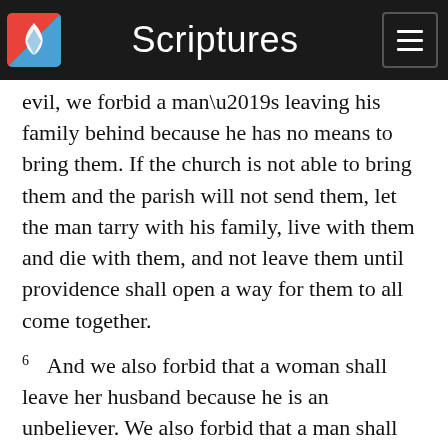Scriptures
evil, we forbid a man’s leaving his family behind because he has no means to bring them. If the church is not able to bring them and the parish will not send them, let the man tarry with his family, live with them and die with them, and not leave them until providence shall open a way for them to all come together.
6 And we also forbid that a woman shall leave her husband because he is an unbeliever. We also forbid that a man shall leave his wife because she is an unbeliever. If he is a bad man (i.e., the unbeliever), there is a law to remedy that evil, and if she is a bad woman, there is a law to remedy that evil. And if the law will divorce them, then they are at liberty. Otherwise, they are bound as long as